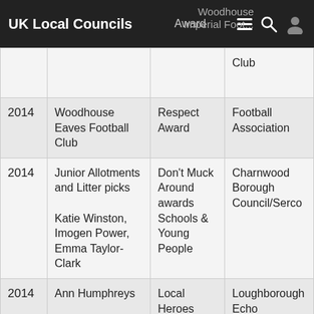UK Local Councils
| Year | Name | Award | Organisation |
| --- | --- | --- | --- |
|  |  | Award | Woodhouse Imperial Football Club |
| 2014 | Woodhouse Eaves Football Club | Respect Award | Football Association |
| 2014 | Junior Allotments and Litter picks

Katie Winston, Imogen Power, Emma Taylor-Clark | Don't Muck Around awards Schools & Young People | Charnwood Borough Council/Serco |
| 2014 | Ann Humphreys | Local Heroes award | Loughborough Echo |
| 2014 | Mervyn Greenhalgh, Neighbourhood Watch Co-ordinator | Annual Parish Award | Parish Council |